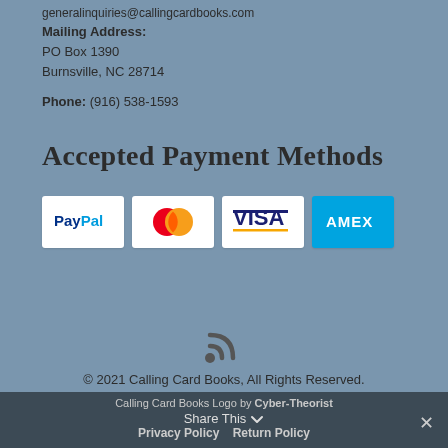generalinquiries@callingcardbooks.com
Mailing Address:
PO Box 1390
Burnsville, NC 28714
Phone: (916) 538-1593
Accepted Payment Methods
[Figure (infographic): Payment method logos: PayPal, Mastercard, Visa, American Express]
[Figure (other): RSS feed icon]
© 2021 Calling Card Books, All Rights Reserved.
Calling Card Books Logo by Cyber-Theorist
Share This
Privacy Policy   Return Policy